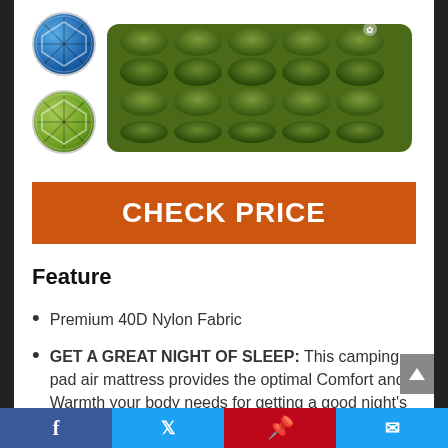[Figure (photo): Inflatable camping air mattress pad in dark olive green with quilted bubble pattern, shown with blue and green color swatch circles on the left]
CHECK PRICE
Feature
Premium 40D Nylon Fabric
GET A GREAT NIGHT OF SLEEP: This camping pad air mattress provides the optimal Comfort and Warmth your body needs for getting a good night's rest. Your weight is